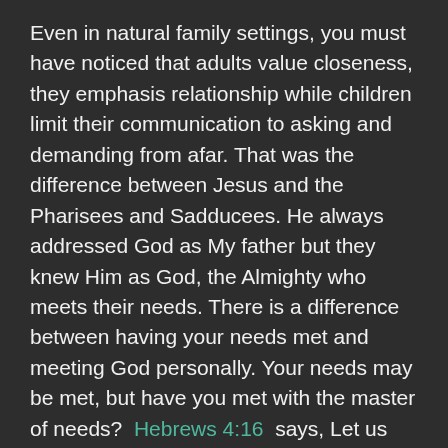Even in natural family settings, you must have noticed that adults value closeness, they emphasis relationship while children limit their communication to asking and demanding from afar. That was the difference between Jesus and the Pharisees and Sadducees. He always addressed God as My father but they knew Him as God, the Almighty who meets their needs. There is a difference between having your needs met and meeting God personally. Your needs may be met, but have you met with the master of needs? Hebrews 4:16 says, Let us therefore come boldly unto the throne of grace, that we may obtain mercy, and find grace to help in time of need. What that means is, when you meet God, He prepares you to meet your needs. The grace He imparts to you enables you to handle the challenges on your way. So, meeting God is the